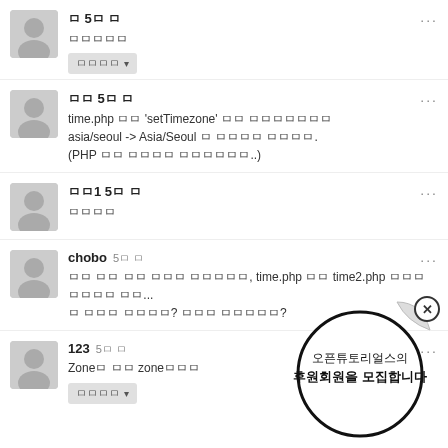ㅁ 5ㅁ ㅁ / ㅁㅁㅁㅁㅁ
ㅁㅁ 5ㅁ ㅁ / time.php ㅁㅁ 'setTimezone' ㅁㅁ ㅁㅁㅁㅁㅁㅁㅁ asia/seoul -> Asia/Seoul ㅁ ㅁㅁㅁㅁ ㅁㅁㅁㅁ. (PHP ㅁㅁ ㅁㅁㅁㅁ ㅁㅁㅁㅁㅁㅁ..)
ㅁㅁ1 5ㅁ ㅁ / ㅁㅁㅁㅁ
chobo 5ㅁ ㅁ / ㅁㅁ ㅁㅁ ㅁㅁ ㅁㅁㅁ ㅁㅁㅁㅁㅁ, time.php ㅁㅁ time2.php ㅁㅁㅁ ㅁㅁㅁㅁ ㅁㅁ... ㅁ ㅁㅁㅁ ㅁㅁㅁㅁ? ㅁㅁㅁ ㅁㅁㅁㅁㅁ?
123 5ㅁ ㅁ / Zoneㅁ ㅁㅁ zoneㅁㅁㅁ
[Figure (other): Popup bubble circle with text: 오픈튜토리얼스의 후원회원을 모집합니다, with X close button]